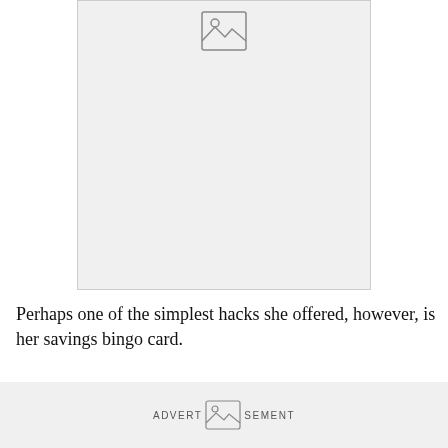[Figure (photo): Image placeholder with mountain/landscape icon on a light gray background]
Perhaps one of the simplest hacks she offered, however, is her savings bingo card.
[Figure (other): Advertisement banner with image placeholder icon and ADVERTISEMENT text]